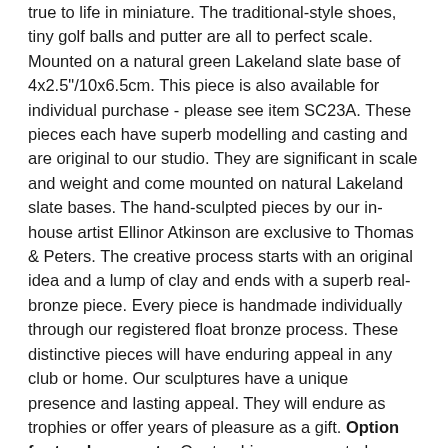true to life in miniature. The traditional-style shoes, tiny golf balls and putter are all to perfect scale. Mounted on a natural green Lakeland slate base of 4x2.5"/10x6.5cm. This piece is also available for individual purchase - please see item SC23A. These pieces each have superb modelling and casting and are original to our studio. They are significant in scale and weight and come mounted on natural Lakeland slate bases. The hand-sculpted pieces by our in-house artist Ellinor Atkinson are exclusive to Thomas & Peters. The creative process starts with an original idea and a lump of clay and ends with a superb real-bronze piece. Every piece is handmade individually through our registered float bronze process. These distinctive pieces will have enduring appeal in any club or home. Our sculptures have a unique presence and lasting appeal. They will endure as trophies or offer years of pleasure as a gift. Option for trophy mounts: Our trophies are mounted on natural green Lakeland slate as standard but you can also choose Burlington Blue, an exquisite black slate. Please contact us on 01406 363410 or